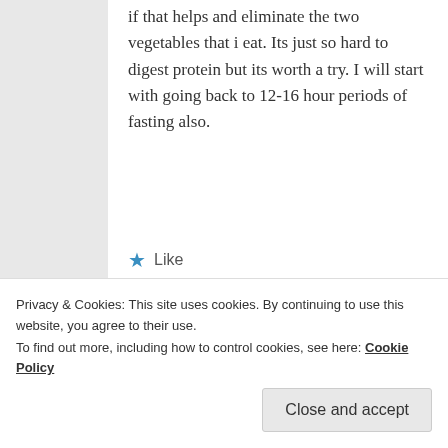if that helps and eliminate the two vegetables that i eat. Its just so hard to digest protein but its worth a try. I will start with going back to 12-16 hour periods of fasting also.
★ Like
Reply ↓
esmeelafleur on October 30, 2016 at 10:03 AM said:
Privacy & Cookies: This site uses cookies. By continuing to use this website, you agree to their use. To find out more, including how to control cookies, see here: Cookie Policy